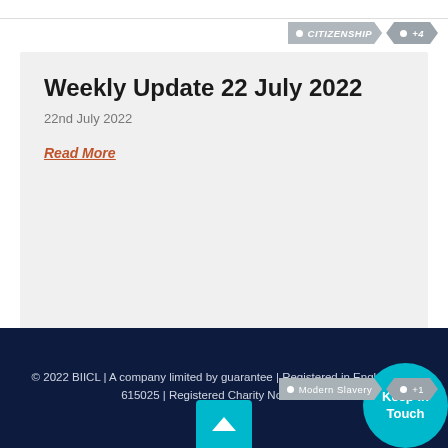CITIZENSHIP +4
Weekly Update 22 July 2022
22nd July 2022
Read More
Modern Slavery +1
© 2022 BIICL | A company limited by guarantee | Registered in England No. 615025 | Registered Charity No. 209425